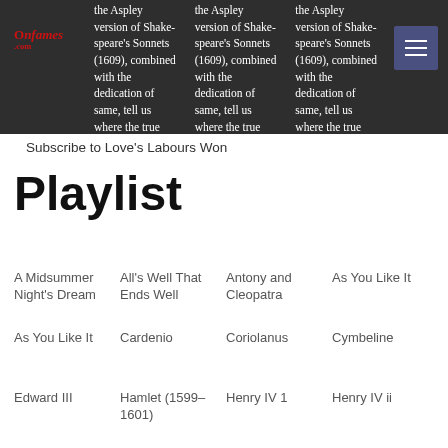the Aspley version of Shake-speare's Sonnets (1609), combined with the dedication of same, tell us where the true author of those sonnets is buried. Filmed... go to article (repeated 3 times)
Subscribe to Love&#039;s Labours Won
Playlist
A Midsummer Night's Dream
All's Well That Ends Well
Antony and Cleopatra
As You Like It
As You Like It
Cardenio
Coriolanus
Cymbeline
Edward III
Hamlet (1599–1601)
Henry IV 1
Henry IV ii